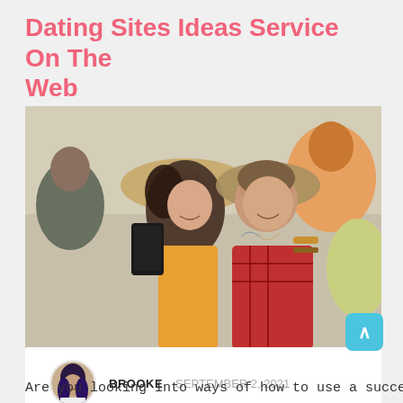Dating Sites Ideas Service On The Web
[Figure (photo): A young couple taking a selfie at what appears to be an outdoor festival or event. The woman is wearing a straw hat and holding a smartphone camera toward them, while the man in a plaid shirt smiles with his arm around her. Other people are visible in the background including someone with orange hair.]
BROOKE  SEPTEMBER 2, 2021
Are you looking into ways of how to use a successful